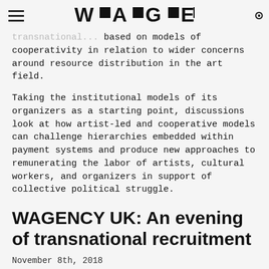W▪A▪G▪E▪ (logo)
transnational... based on models of cooperativity in relation to wider concerns around resource distribution in the art field.
Taking the institutional models of its organizers as a starting point, discussions look at how artist-led and cooperative models can challenge hierarchies embedded within payment systems and produce new approaches to remunerating the labor of artists, cultural workers, and organizers in support of collective political struggle.
WAGENCY UK: An evening of transnational recruitment
November 8th, 2018
⊙ Cubitt, London